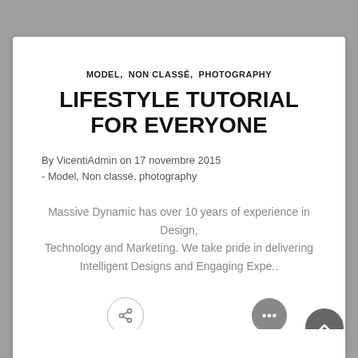MODEL,  NON CLASSÉ,  PHOTOGRAPHY
LIFESTYLE TUTORIAL FOR EVERYONE
By VicentiAdmin on 17 novembre 2015 - Model, Non classé, photography
Massive Dynamic has over 10 years of experience in Design, Technology and Marketing. We take pride in delivering Intelligent Designs and Engaging Expe..